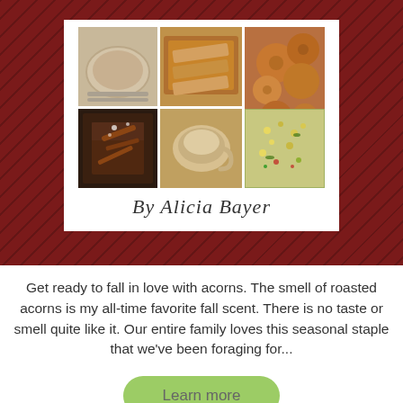[Figure (photo): Book cover collage with food photos arranged in a grid and script text 'By Alicia Bayer' on a dark red chevron background]
Get ready to fall in love with acorns. The smell of roasted acorns is my all-time favorite fall scent. There is no taste or smell quite like it. Our entire family loves this seasonal staple that we've been foraging for...
Learn more
Elderberries: The Beginner's Guide to